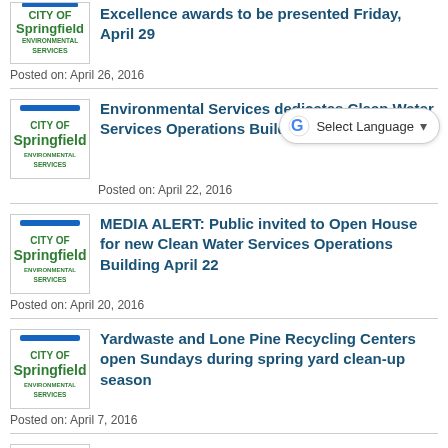[Figure (logo): City of Springfield Environmental Services logo (partial, top cropped)]
Excellence awards to be presented Friday, April 29
Posted on: April 26, 2016
[Figure (logo): City of Springfield Environmental Services logo]
Environmental Services dedicates Clean Water Services Operations Building
Posted on: April 22, 2016
[Figure (logo): Google Translate Select Language widget]
[Figure (logo): City of Springfield Environmental Services logo]
MEDIA ALERT: Public invited to Open House for new Clean Water Services Operations Building April 22
Posted on: April 20, 2016
[Figure (logo): City of Springfield Environmental Services logo]
Yardwaste and Lone Pine Recycling Centers open Sundays during spring yard clean-up season
Posted on: April 7, 2016
[Figure (logo): City of Springfield Environmental Services logo]
Celebrate Earth Month 2016 with variety of events and activities
Posted on: April 1, 2016